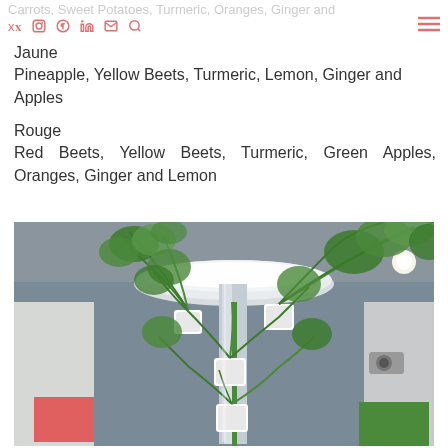Carrots, Sweet Potatoes, Turmeric, Oranges, Ginger and
Jaune
Pineapple, Yellow Beets, Turmeric, Lemon, Ginger and Apples
Rouge
Red Beets, Yellow Beets, Turmeric, Green Apples, Oranges, Ginger and Lemon
[Figure (photo): Indoor hydroponic vertical garden tower with growing plants under circular LED grow light, mounted from ceiling, with green leafy plants growing in white pots along a central column]